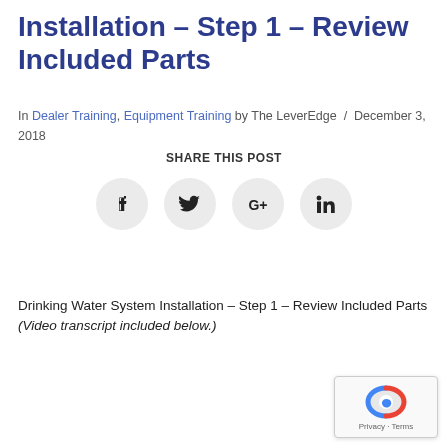Installation – Step 1 – Review Included Parts
In Dealer Training, Equipment Training by The LeverEdge / December 3, 2018
SHARE THIS POST
[Figure (infographic): Four social media share buttons in circular grey icons: Facebook, Twitter, Google+, LinkedIn]
Drinking Water System Installation – Step 1 – Review Included Parts
(Video transcript included below.)